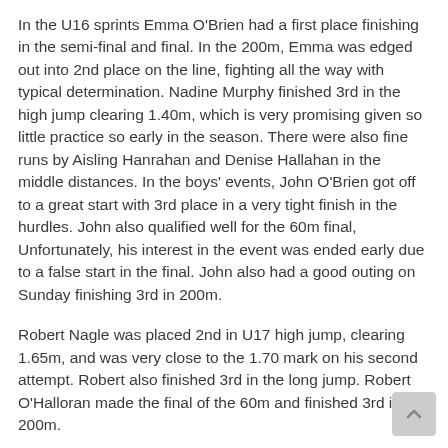In the U16 sprints Emma O'Brien had a first place finishing in the semi-final and final. In the 200m, Emma was edged out into 2nd place on the line, fighting all the way with typical determination. Nadine Murphy finished 3rd in the high jump clearing 1.40m, which is very promising given so little practice so early in the season. There were also fine runs by Aisling Hanrahan and Denise Hallahan in the middle distances. In the boys' events, John O'Brien got off to a great start with 3rd place in a very tight finish in the hurdles. John also qualified well for the 60m final, Unfortunately, his interest in the event was ended early due to a false start in the final. John also had a good outing on Sunday finishing 3rd in 200m.
Robert Nagle was placed 2nd in U17 high jump, clearing 1.65m, and was very close to the 1.70 mark on his second attempt. Robert also finished 3rd in the long jump. Robert O'Halloran made the final of the 60m and finished 3rd in the 200m.
In the boys U18, Chris Mintorn finished 2nd in the 1500m